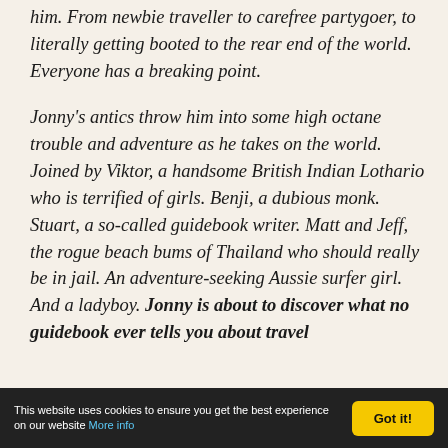him. From newbie traveller to carefree partygoer, to literally getting booted to the rear end of the world. Everyone has a breaking point.

Jonny's antics throw him into some high octane trouble and adventure as he takes on the world. Joined by Viktor, a handsome British Indian Lothario who is terrified of girls. Benji, a dubious monk. Stuart, a so-called guidebook writer. Matt and Jeff, the rogue beach bums of Thailand who should really be in jail. An adventure-seeking Aussie surfer girl. And a ladyboy. Jonny is about to discover what no guidebook ever tells you about travel
This website uses cookies to ensure you get the best experience on our website More info [Got it!]